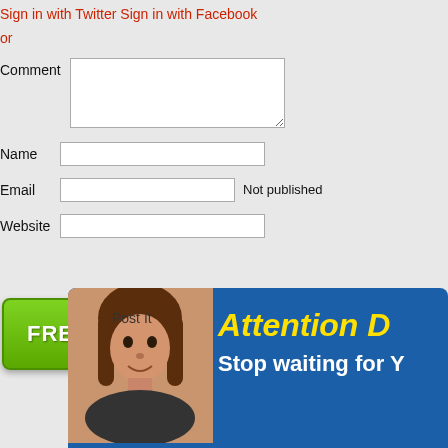Sign in with Twitter Sign in with Facebook
or
Comment
Name
Email    Not published
Website
[Figure (screenshot): Green FREE QUOTE button with arrow circle and Post It label overlay]
[Figure (infographic): Blue banner with woman photo on left and 'Attention D... Stop waiting for Y...' text on right]